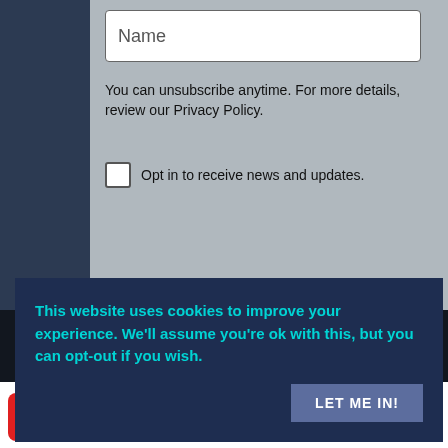Name
You can unsubscribe anytime. For more details, review our Privacy Policy.
Opt in to receive news and updates.
This website uses cookies to improve your experience. We'll assume you're ok with this, but you can opt-out if you wish.
LET ME IN!
Health Disclaimer
Privacy Policy
Terms and Conditions
Contact Me
19 (Pinterest) | Facebook | Twitter | < 19 SHARES